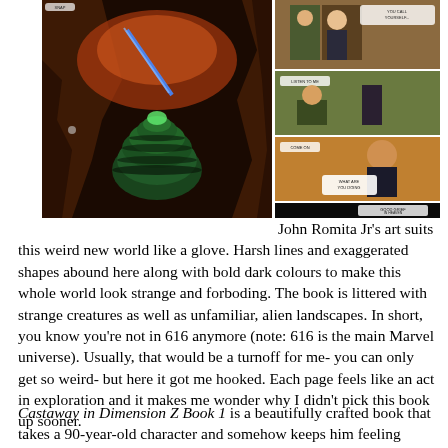[Figure (illustration): Comic book panels showing John Romita Jr artwork: a large panel on the left depicting a strange alien creature with a spiral/coiled green body in a dark rocky canyon with a blue energy beam, and smaller panels on the right showing characters interacting in various scenes including a dark final panel]
John Romita Jr's art suits this weird new world like a glove. Harsh lines and exaggerated shapes abound here along with bold dark colours to make this whole world look strange and forboding. The book is littered with strange creatures as well as unfamiliar, alien landscapes. In short, you know you're not in 616 anymore (note: 616 is the main Marvel universe). Usually, that would be a turnoff for me- you can only get so weird- but here it got me hooked. Each page feels like an act in exploration and it makes me wonder why I didn't pick this book up sooner.
Castaway in Dimension Z Book 1 is a beautifully crafted book that takes a 90-year-old character and somehow keeps him feeling